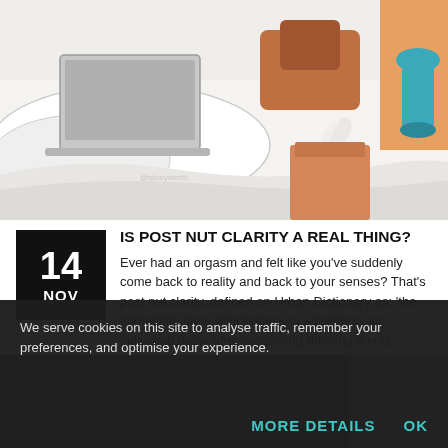[Figure (illustration): Illustration of a person lying in bed with a laptop, tissue box, and items on a nightstand with a teal vase. Drawn in a stylized outline/colored illustration style with muted tones.]
IS POST NUT CLARITY A REAL THING?
Ever had an orgasm and felt like you've suddenly come back to reality and back to your senses? That's post nut clarity, defined on Urban Dictionary as: 'the immediate clear mindedness or soberness an individual gains after orgasming (busting a nut).'
[Figure (photo): Partial image visible behind cookie consent banner — dark/blurred background strip.]
We serve cookies on this site to analyse traffic, remember your preferences, and optimise your experience.
MORE DETAILS    OK